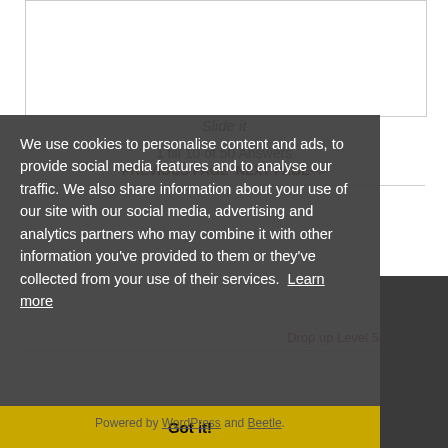Slide it
1 till 10 of 50 Answers
PREVIOUS PAGE  NEXT PAGE-->
Drop up Level 51-100 »
We use cookies to personalise content and ads, to provide social media features and to analyse our traffic. We also share information about your use of our site with our social media, advertising and analytics partners who may combine it with other information you've provided to them or they've collected from your use of their services. Learn more
Powered by WordPress and Beetle.
Got it!